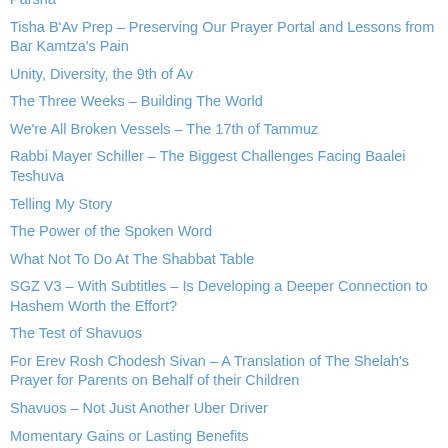Parsha
Tisha B'Av Prep – Preserving Our Prayer Portal and Lessons from Bar Kamtza's Pain
Unity, Diversity, the 9th of Av
The Three Weeks – Building The World
We're All Broken Vessels – The 17th of Tammuz
Rabbi Mayer Schiller – The Biggest Challenges Facing Baalei Teshuva
Telling My Story
The Power of the Spoken Word
What Not To Do At The Shabbat Table
SGZ V3 – With Subtitles – Is Developing a Deeper Connection to Hashem Worth the Effort?
The Test of Shavuos
For Erev Rosh Chodesh Sivan – A Translation of The Shelah's Prayer for Parents on Behalf of their Children
Shavuos – Not Just Another Uber Driver
Momentary Gains or Lasting Benefits
Calibrating Covid Fear